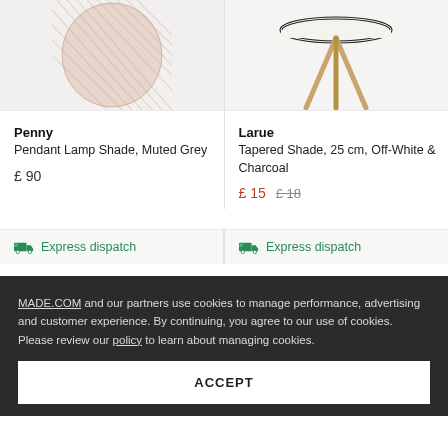[Figure (photo): Penny Pendant Lamp Shade in Muted Grey, shown partially cropped at top of product card]
[Figure (photo): Larue Tapered Shade 25cm in Off-White & Charcoal on wooden tripod stand, partially cropped]
Penny
Pendant Lamp Shade, Muted Grey
£ 90
Larue
Tapered Shade, 25 cm, Off-White & Charcoal
£ 15  £ 18
Express dispatch
Express dispatch
MADE.COM and our partners use cookies to manage performance, advertising and customer experience. By continuing, you agree to our use of cookies. Please review our policy to learn about managing cookies.
ACCEPT